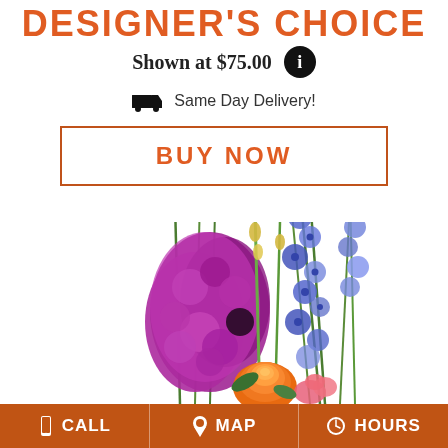DESIGNER'S CHOICE
Shown at $75.00
Same Day Delivery!
BUY NOW
[Figure (photo): Floral arrangement with purple stock flowers, blue delphinium, orange rose, and pink alstroemeria]
CALL   MAP   HOURS